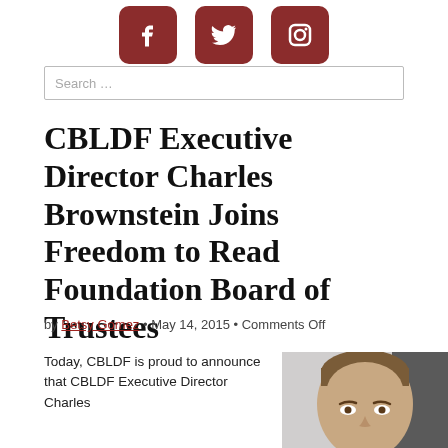[Figure (illustration): Three social media icons (Facebook, Twitter, Instagram) with dark red rounded square backgrounds]
Search …
CBLDF Executive Director Charles Brownstein Joins Freedom to Read Foundation Board of Trustees
by Betsy Gomez • May 14, 2015 • Comments Off
Today, CBLDF is proud to announce that CBLDF Executive Director Charles
[Figure (photo): Headshot photo of Charles Brownstein, a man with short brown hair, close-up portrait]